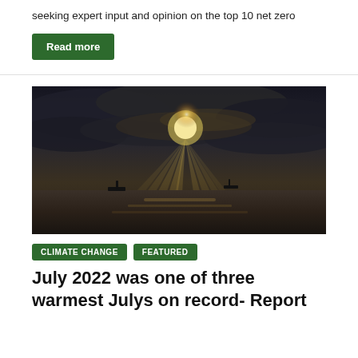seeking expert input and opinion on the top 10 net zero
Read more
[Figure (photo): Dramatic seascape photograph with sunrays piercing through dark storm clouds over the ocean, with silhouetted ships on the horizon and golden light reflecting on the water]
CLIMATE CHANGE
FEATURED
July 2022 was one of three warmest Julys on record- Report